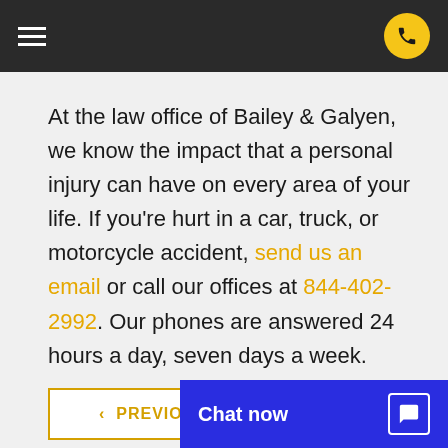Bailey & Galyen Law Office — navigation bar
At the law office of Bailey & Galyen, we know the impact that a personal injury can have on every area of your life. If you're hurt in a car, truck, or motorcycle accident, send us an email or call our offices at 844-402-2992. Our phones are answered 24 hours a day, seven days a week.
< PREVIOUS | Chat now